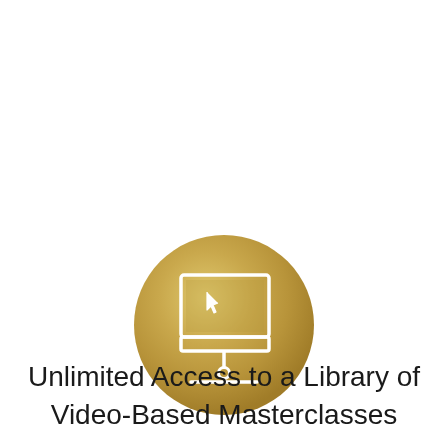[Figure (illustration): A golden/brass-colored circular icon containing a white outline illustration of a laptop/monitor with a cursor arrow on the screen, a stand, and a base line beneath it.]
Unlimited Access to a Library of Video-Based Masterclasses